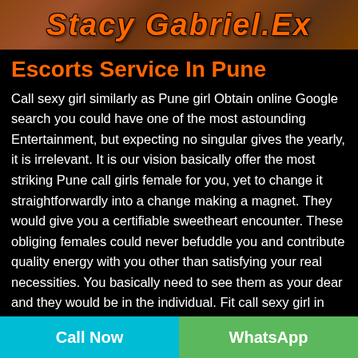[Figure (photo): Top banner image with stylized italic orange text overlay on a brown/dark background, partially cropped]
Escorts Service In Pune
Call sexy girl similarly as Pune girl Obtain online Google search you could have one of the most astounding Entertainment, but expecting no singular gives the yearly, it is irrelevant. It is our vision basically offer the most striking Pune call girls female for you, yet to change it straightforwardly into a change making a magnet. They would give you a certifiable sweetheart encounter. These obliging females could never befuddle you and contribute quality energy with you other than satisfying your real necessities. You basically need to see them as your dear and they would be in the individual. Fit call sexy girl in Pune come up from renowned areas of the town
Call Now | WhatsApp